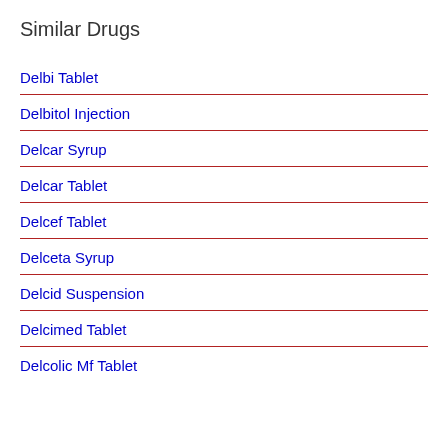Similar Drugs
Delbi Tablet
Delbitol Injection
Delcar Syrup
Delcar Tablet
Delcef Tablet
Delceta Syrup
Delcid Suspension
Delcimed Tablet
Delcolic Mf Tablet